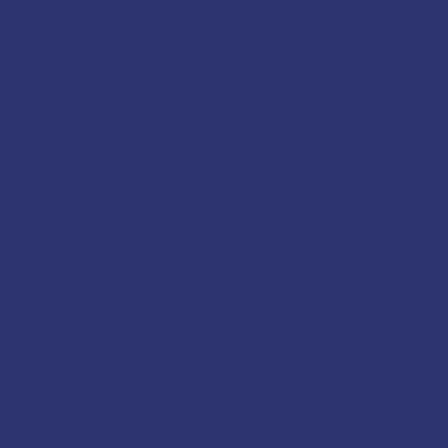If an owner fails to request IDR with decide, by majority lien for the amount of collection, including Association authority will be charged may be enforced or non-judicial f
8. Enforcing of
Once the lien has designee, may foreclose the lie
(a) the delinquent ($1,800.00) or more and fees;
or
(b) the assessment
Owner's could be completed and